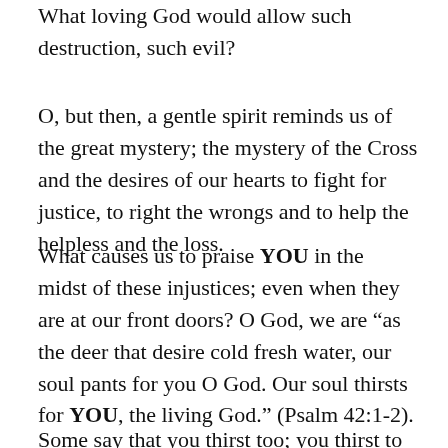What loving God would allow such destruction, such evil?
O, but then, a gentle spirit reminds us of the great mystery; the mystery of the Cross and the desires of our hearts to fight for justice, to right the wrongs and to help the helpless and the loss.
What causes us to praise YOU in the midst of these injustices; even when they are at our front doors? O God, we are “as the deer that desire cold fresh water, our soul pants for you O God. Our soul thirsts for YOU, the living God.” (Psalm 42:1-2).
Some say that you thirst too; you thirst to have